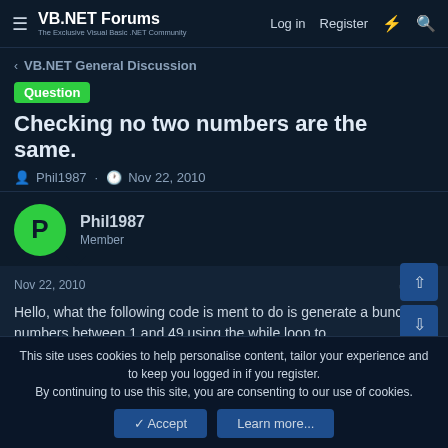VB.NET Forums | Log in | Register
< VB.NET General Discussion
Question Checking no two numbers are the same.
Phil1987 · Nov 22, 2010
Phil1987 Member
Nov 22, 2010 #1
Hello, what the following code is ment to do is generate a bunch of numbers between 1 and 49 using the while loop to
This site uses cookies to help personalise content, tailor your experience and to keep you logged in if you register.
By continuing to use this site, you are consenting to our use of cookies.